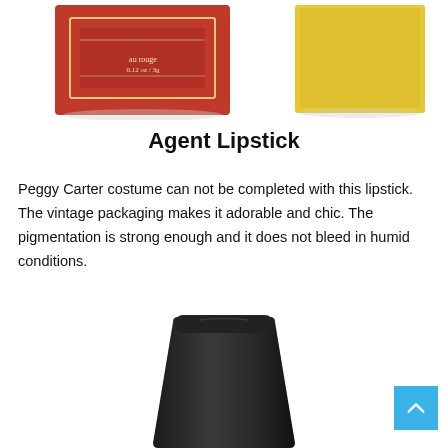[Figure (photo): Two cosmetic/soap boxes on white background — a red vintage-style box on the left and a yellow box on the right]
Agent Lipstick
Peggy Carter costume can not be completed with this lipstick. The vintage packaging makes it adorable and chic. The pigmentation is strong enough and it does not bleed in humid conditions.
[Figure (photo): Top portion of a black lipstick cap/tube with matte black textured finish, on a white background]